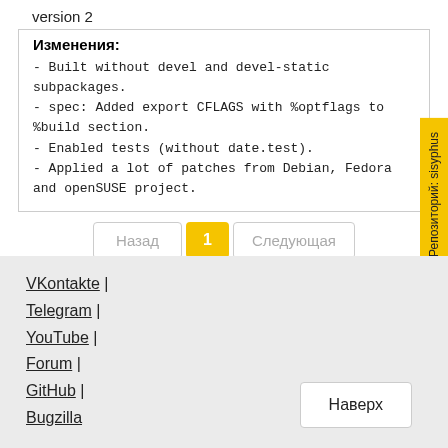version 2
Изменения:
- Built without devel and devel-static subpackages.
- spec: Added export CFLAGS with %optflags to %build section.
- Enabled tests (without date.test).
- Applied a lot of patches from Debian, Fedora and openSUSE project.
Назад  1  Следующая
Репозиторий: sisyphus
VKontakte |
Telegram |
YouTube |
Forum |
GitHub |
Bugzilla
Наверх